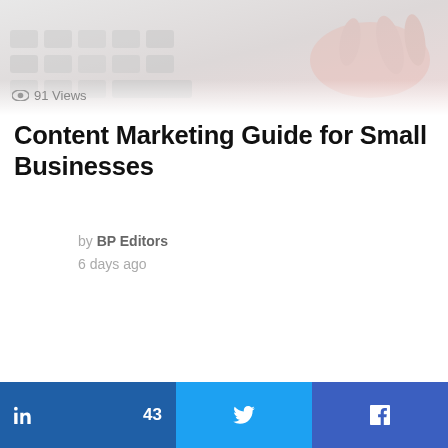[Figure (photo): Hero image showing a keyboard and a hand on a light pinkish-grey background]
91 Views
Content Marketing Guide for Small Businesses
by BP Editors
6 days ago
LinkedIn 43 | Twitter | Facebook